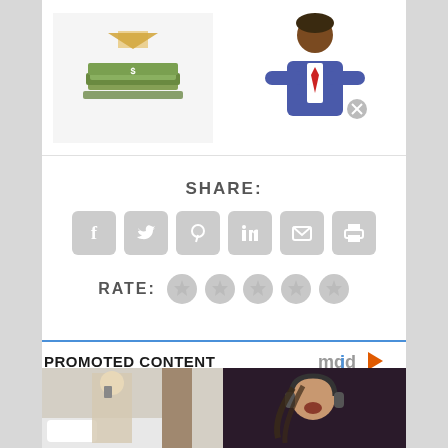[Figure (illustration): Two illustrations side by side: left shows a stack of dollar bills with a pink envelope/hand icon above; right shows a cartoon Black man in a blue suit with red tie, arms crossed, with a circular X icon.]
SHARE:
[Figure (infographic): Row of 6 social share icon buttons: Facebook, Twitter, Pinterest, LinkedIn, Email, Print — all styled in light grey rounded square buttons.]
RATE:
[Figure (infographic): 5 grey star rating icons in a row.]
PROMOTED CONTENT
[Figure (logo): mgid logo with play button icon in orange/red]
[Figure (photo): Left: blonde woman in white lace outfit taking selfie in mirror in hotel room. Right: young girl with headphones, eyes closed, mouth open, dark background.]